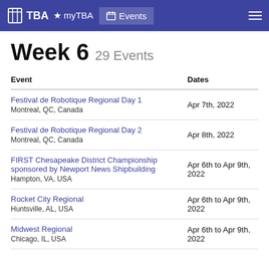TBA  myTBA  Events
Week 6  29 Events
| Event | Dates |
| --- | --- |
| Festival de Robotique Regional Day 1
Montreal, QC, Canada | Apr 7th, 2022 |
| Festival de Robotique Regional Day 2
Montreal, QC, Canada | Apr 8th, 2022 |
| FIRST Chesapeake District Championship sponsored by Newport News Shipbuilding
Hampton, VA, USA | Apr 6th to Apr 9th, 2022 |
| Rocket City Regional
Huntsville, AL, USA | Apr 6th to Apr 9th, 2022 |
| Midwest Regional
Chicago, IL, USA | Apr 6th to Apr 9th, 2022 |